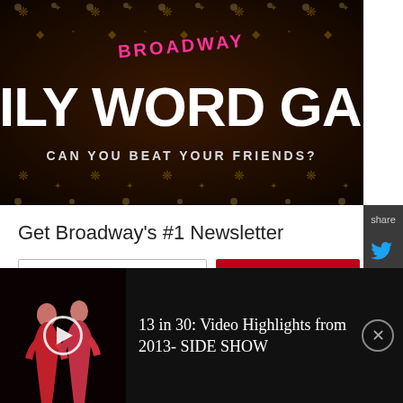[Figure (illustration): Broadway Daily Word Game banner with dark ornate background, pink 'BROADWAY' text above large white 'DAILY WORD GAME' title, with tagline 'CAN YOU BEAT YOUR FRIENDS?']
share
Get Broadway's #1 Newsletter
Enter Your E-mail
Sign Up
News + special offers for Broadway Shows
[Figure (screenshot): Video thumbnail showing two women in red dresses on a dark stage, with play button overlay. Title reads: 13 in 30: Video Highlights from 2013- SIDE SHOW]
13 in 30: Video Highlights from 2013- SIDE SHOW